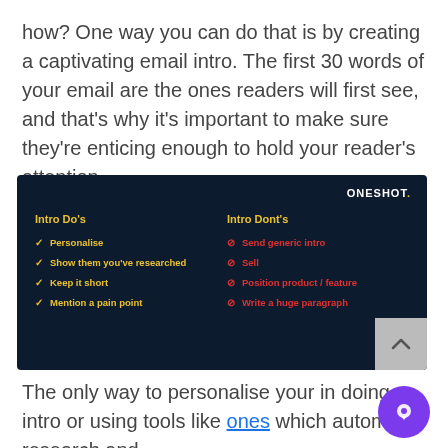how? One way you can do that is by creating a captivating email intro. The first 30 words of your email are the ones readers will first see, and that's why it's important to make sure they're enticing enough to hold your reader's attention.
[Figure (infographic): Dark navy infographic with two columns: 'Intro Do's' (checkmarks in yellow listing: Personalise, Show them you've researched, Keep it short, Mention a pain point) and 'Intro Dont's' (no-entry icons in red listing: Send generic intro, Sell, Position product / feature, Write a huge paragraph). ONESHOT. logo in top right.]
The only way to personalise your intro is doing intro or using tools like ones which automates research and